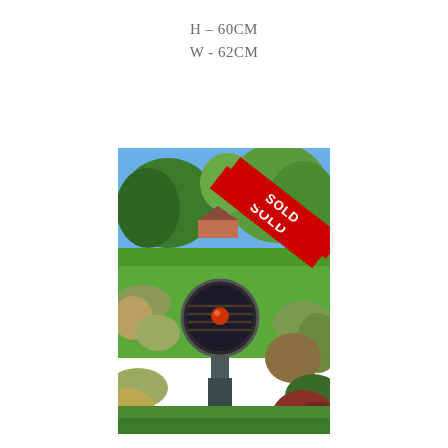H – 60CM
W - 62CM
[Figure (photo): Garden sculpture on a pedestal: a large dark circular disc mounted on a post in a lush garden setting with green lawn, trees, and flowering plants. A red diagonal 'SOLD' banner is overlaid in the upper right area of the image.]